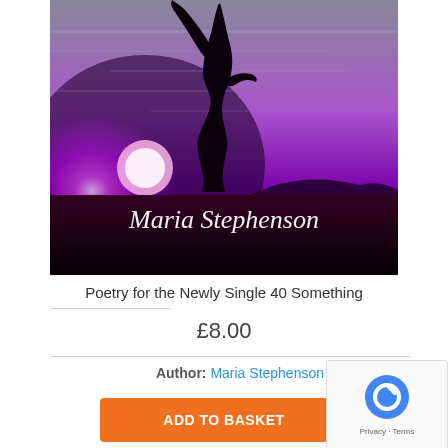[Figure (photo): Book cover for 'Poetry for the Newly Single 40 Something' by Maria Stephenson. A silhouette of a woman with arms raised against a dramatic purple sunset sky. The author's name 'Maria Stephenson' appears in cursive white text at the bottom of the cover.]
Poetry for the Newly Single 40 Something
£8.00
Author: Maria Stephenson
ADD TO BASKET